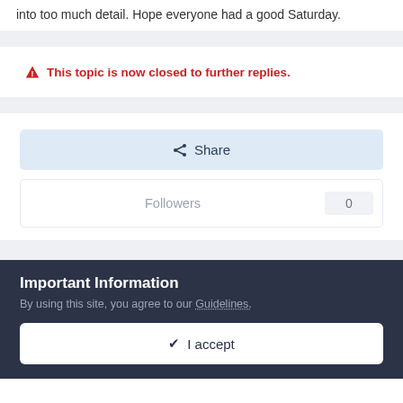into too much detail. Hope everyone had a good Saturday.
⚠ This topic is now closed to further replies.
Share
Followers 0
Important Information
By using this site, you agree to our Guidelines.
✓ I accept